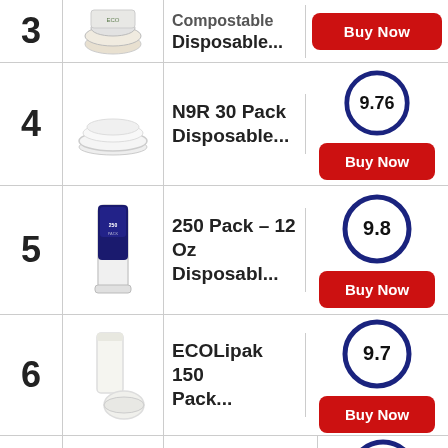3 — Compostable Disposable... Buy Now
4 — N9R 30 Pack Disposable... 9.76 Buy Now
5 — 250 Pack – 12 Oz Disposabl... 9.8 Buy Now
6 — ECOLipak 150 Pack... 9.7 Buy Now
7 (partial row)